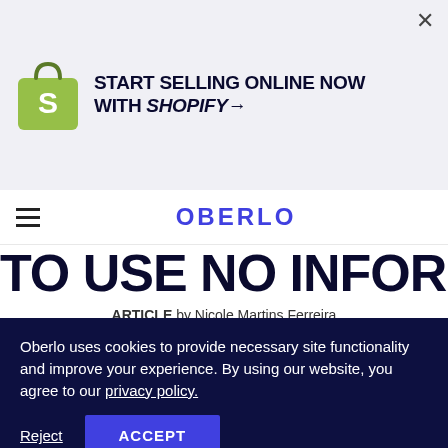[Figure (logo): Shopify bag logo with green shopping bag and white S letter]
START SELLING ONLINE NOW WITH SHOPIFY→
OBERLO
TO USE NO INFORMATION IN 2022
ARTICLE by Nicole Martins Ferreira 18 Apr. 2022
Oberlo uses cookies to provide necessary site functionality and improve your experience. By using our website, you agree to our privacy policy.
Reject   ACCEPT